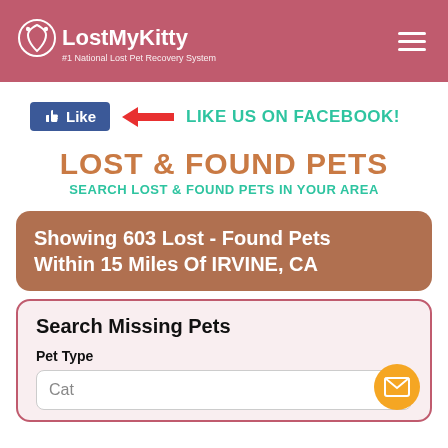LostMyKitty — #1 National Lost Pet Recovery System
[Figure (screenshot): Facebook Like button with red arrow pointing left]
LIKE US ON FACEBOOK!
LOST & FOUND PETS
SEARCH LOST & FOUND PETS IN YOUR AREA
Showing 603 Lost - Found Pets Within 15 Miles Of IRVINE, CA
Search Missing Pets
Pet Type
Cat